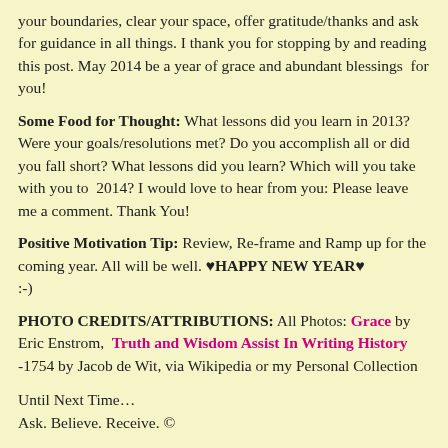your boundaries, clear your space, offer gratitude/thanks and ask for guidance in all things. I thank you for stopping by and reading this post. May 2014 be a year of grace and abundant blessings  for you!
Some Food for Thought: What lessons did you learn in 2013?  Were your goals/resolutions met? Do you accomplish all or did you fall short? What lessons did you learn? Which will you take with you to  2014? I would love to hear from you: Please leave me a comment. Thank You!
Positive Motivation Tip: Review, Re-frame and Ramp up for the coming year. All will be well. ♥HAPPY NEW YEAR♥ :-)
PHOTO CREDITS/ATTRIBUTIONS: All Photos: Grace by Eric Enstrom,  Truth and Wisdom Assist In Writing History -1754 by Jacob de Wit, via Wikipedia or my Personal Collection
Until Next Time...
Ask. Believe. Receive. ©